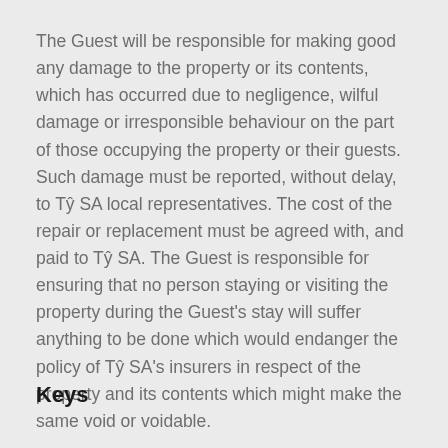The Guest will be responsible for making good any damage to the property or its contents, which has occurred due to negligence, wilful damage or irresponsible behaviour on the part of those occupying the property or their guests. Such damage must be reported, without delay, to Tŷ SA local representatives. The cost of the repair or replacement must be agreed with, and paid to Tŷ SA. The Guest is responsible for ensuring that no person staying or visiting the property during the Guest's stay will suffer anything to be done which would endanger the policy of Tŷ SA's insurers in respect of the property and its contents which might make the same void or voidable.
Keys